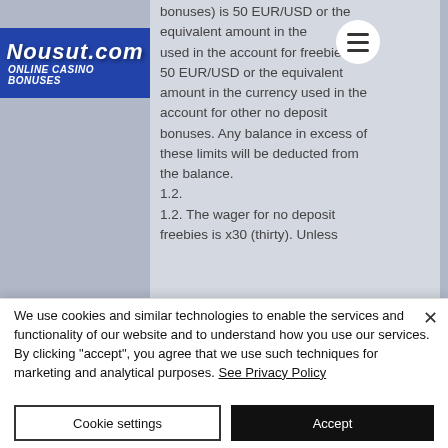[Figure (screenshot): Website screenshot showing nousut.com Online Casino Bonuses page with casino terms text visible in background]
bonuses) is 50 EUR/USD or the equivalent amount in the currency used in the account for freebies and 50 EUR/USD or the equivalent amount in the currency used in the account for other no deposit bonuses. Any balance in excess of these limits will be deducted from the balance.
1.2.
1.2. The wager for no deposit freebies is x30 (thirty). Unless
We use cookies and similar technologies to enable the services and functionality of our website and to understand how you use our services. By clicking "accept", you agree that we use such techniques for marketing and analytical purposes. See Privacy Policy
Cookie settings
Accept